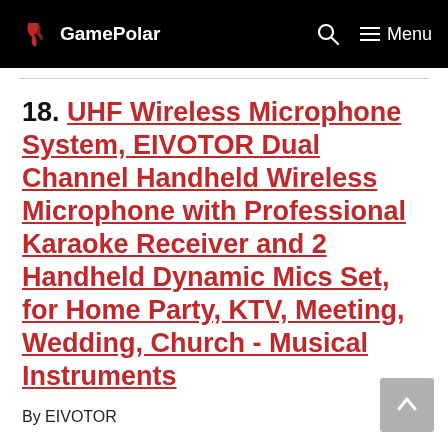GamePolar | Menu
18. UHF Wireless Microphone System, EIVOTOR Dual Channel Handheld Wireless Microphone with Professional Karaoke Receiver and 2 Handheld Dynamic Mics Set, for Home Party, KTV, Meeting, Wedding, Church - Musical Instruments
By EIVOTOR